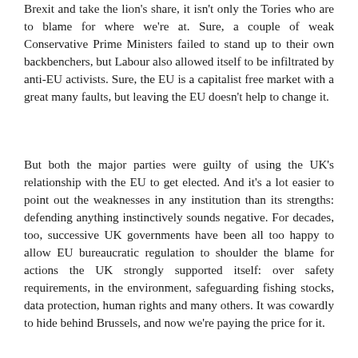Brexit and take the lion's share, it isn't only the Tories who are to blame for where we're at. Sure, a couple of weak Conservative Prime Ministers failed to stand up to their own backbenchers, but Labour also allowed itself to be infiltrated by anti-EU activists. Sure, the EU is a capitalist free market with a great many faults, but leaving the EU doesn't help to change it.
But both the major parties were guilty of using the UK's relationship with the EU to get elected. And it's a lot easier to point out the weaknesses in any institution than its strengths: defending anything instinctively sounds negative. For decades, too, successive UK governments have been all too happy to allow EU bureaucratic regulation to shoulder the blame for actions the UK strongly supported itself: over safety requirements, in the environment, safeguarding fishing stocks, data protection, human rights and many others. It was cowardly to hide behind Brussels, and now we're paying the price for it.